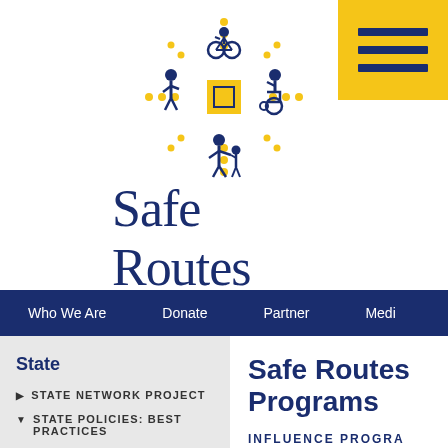[Figure (logo): Safe Routes Partnership logo with silhouettes of a cyclist, walker, wheelchair user, and adult with child surrounding a yellow square, with yellow dotted star rays]
Safe Routes PARTNERSHIP
[Figure (other): Yellow hamburger menu icon in top right corner with three dark navy horizontal lines]
Who We Are   Donate   Partner   Medi
State
STATE NETWORK PROJECT
STATE POLICIES: BEST PRACTICES
Safe Routes to School State Programs
Safe Routes Programs
INFLUENCE PROGRA
Background